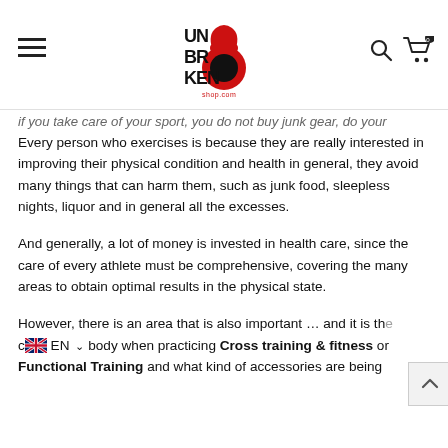Unbroken Shop navigation header with logo, hamburger menu, search and cart icons
if you take care of your sport, you do not buy junk gear, do your
Every person who exercises is because they are really interested in improving their physical condition and health in general, they avoid many things that can harm them, such as junk food, sleepless nights, liquor and in general all the excesses.
And generally, a lot of money is invested in health care, since the care of every athlete must be comprehensive, covering the many areas to obtain optimal results in the physical state.
However, there is an area that is also important … and it is the care of the body when practicing Cross training & fitness or Functional Training and what kind of accessories are being